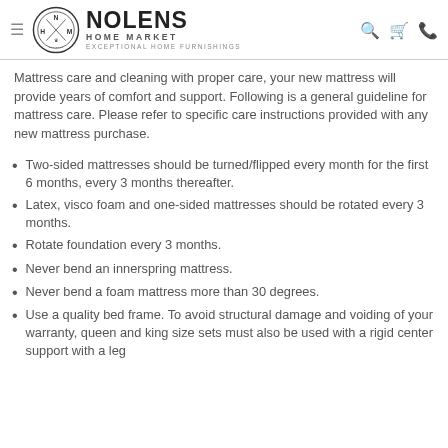Nolens Home Market — Exceptional Home Furnishings
Mattress care and cleaning with proper care, your new mattress will provide years of comfort and support. Following is a general guideline for mattress care. Please refer to specific care instructions provided with any new mattress purchase.
Two-sided mattresses should be turned/flipped every month for the first 6 months, every 3 months thereafter.
Latex, visco foam and one-sided mattresses should be rotated every 3 months.
Rotate foundation every 3 months.
Never bend an innerspring mattress.
Never bend a foam mattress more than 30 degrees.
Use a quality bed frame. To avoid structural damage and voiding of your warranty, queen and king size sets must also be used with a rigid center support with a leg